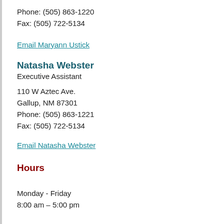Phone: (505) 863-1220
Fax: (505) 722-5134
Email Maryann Ustick
Natasha Webster
Executive Assistant
110 W Aztec Ave.
Gallup, NM 87301
Phone: (505) 863-1221
Fax: (505) 722-5134
Email Natasha Webster
Hours
Monday - Friday
8:00 am – 5:00 pm